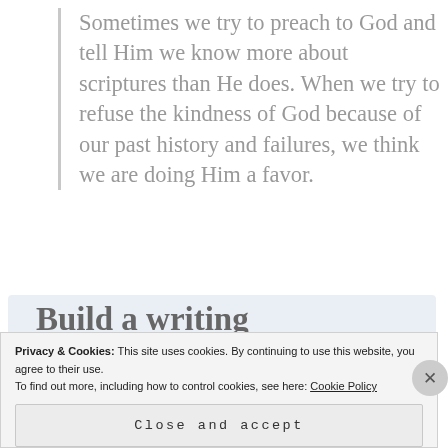Sometimes we try to preach to God and tell Him we know more about scriptures than He does. When we try to refuse the kindness of God because of our past history and failures, we think we are doing Him a favor.
[Figure (screenshot): WordPress 'Build a writing habit. Post on the go.' app promotion banner with GET THE APP call to action and WordPress logo icon]
Privacy & Cookies: This site uses cookies. By continuing to use this website, you agree to their use. To find out more, including how to control cookies, see here: Cookie Policy
Close and accept